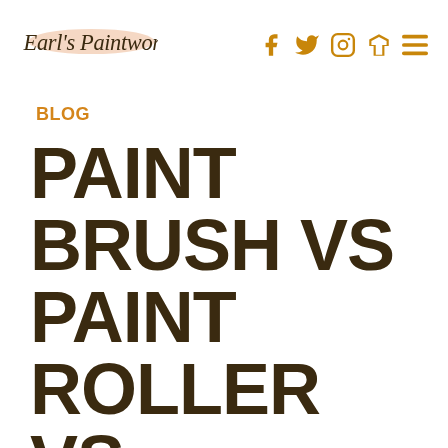Earl's Paintworks — navigation with social icons
BLOG
PAINT BRUSH VS PAINT ROLLER VS SPRAYER: WHAT'S